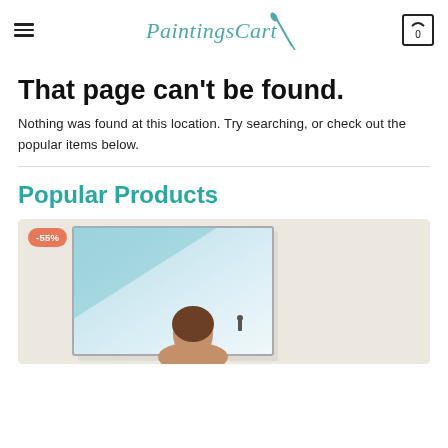PaintingsCart [logo with paintbrush icon] | hamburger menu | cart icon with 0
That page can't be found.
Nothing was found at this location. Try searching, or check out the popular items below.
Popular Products
[Figure (photo): Product image showing a canvas painting of a person, displayed on a light beige background, with a -55% discount badge in orange/coral color in the top left corner.]